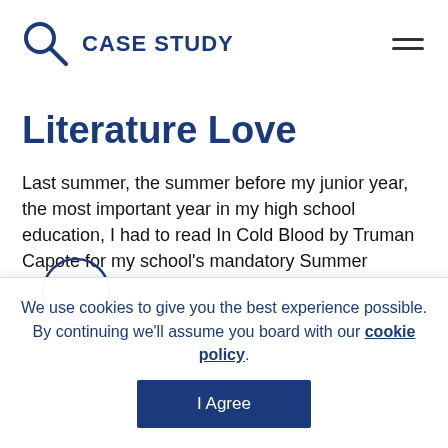CASE STUDY
Literature Love
Last summer, the summer before my junior year, the most important year in my high school education, I had to read In Cold Blood by Truman Capote for my school's mandatory Summer...
We use cookies to give you the best experience possible. By continuing we'll assume you board with our cookie policy.